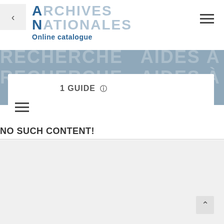[Figure (logo): Archives Nationales logo with large stylized text and tagline 'Online catalogue']
[Figure (illustration): Blue-grey banner background with repeated text 'RECHERCHE AIDES À LA RECHERCHE' in large white semi-transparent letters]
1 GUIDE ℹ
NO SUCH CONTENT!
CONTACT
ABOUT US
New conditions for access to archives.
Find out more > Click here